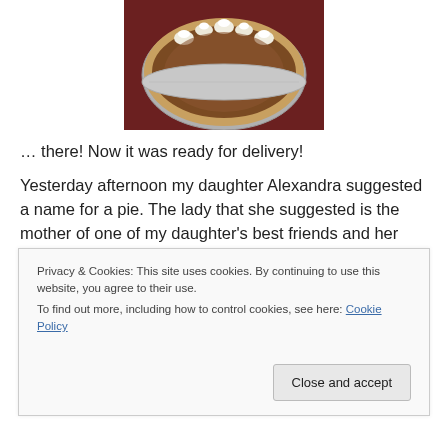[Figure (photo): A pie with whipped cream decorations on a dark red surface, viewed from above, in a foil pan.]
… there!  Now it was ready for delivery!
Yesterday afternoon my daughter Alexandra suggested a name for a pie. The lady that she suggested is the mother of one of my daughter's best friends and her name is JoAnn.  We've known each other for about ten years and while I haven't seen her in a while, I always think of her
Privacy & Cookies: This site uses cookies. By continuing to use this website, you agree to their use.
To find out more, including how to control cookies, see here: Cookie Policy